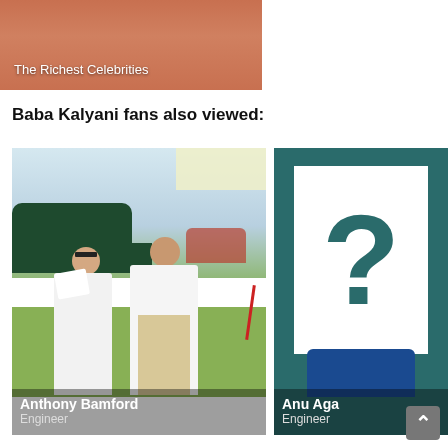[Figure (photo): Top banner showing orange/skin-toned background with text overlay 'The Richest Celebrities']
The Richest Celebrities
Baba Kalyani fans also viewed:
[Figure (photo): Photo of a couple dressed in white at an outdoor car show. Man and woman standing together with vintage cars in background.]
Anthony Bamford
Engineer
[Figure (photo): Profile card with teal/dark green background showing a white rectangle with a large question mark, and partial view of person in blue jacket below.]
Anu Aga
Engineer